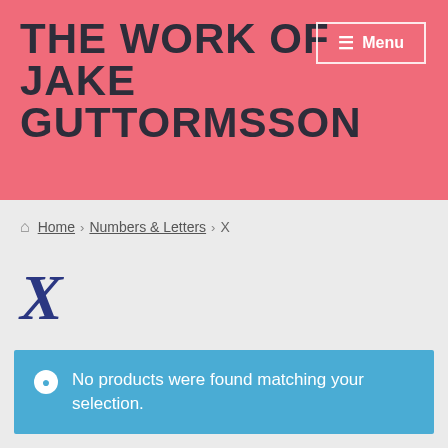THE WORK OF JAKE GUTTORMSSON
≡ Menu
Home > Numbers & Letters > X
[Figure (illustration): Italic X letter in dark blue, large decorative font]
No products were found matching your selection.
User icon | Search icon | Cart icon with badge 0